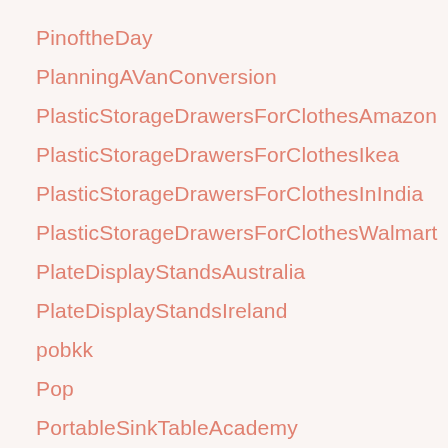PinoftheDay
PlanningAVanConversion
PlasticStorageDrawersForClothesAmazon
PlasticStorageDrawersForClothesIkea
PlasticStorageDrawersForClothesInIndia
PlasticStorageDrawersForClothesWalmart
PlateDisplayStandsAustralia
PlateDisplayStandsIreland
pobkk
Pop
PortableSinkTableAcademy
PortableSinkTableForCamping
PortableSinkTableHomeDepot
PortableTabletopSink